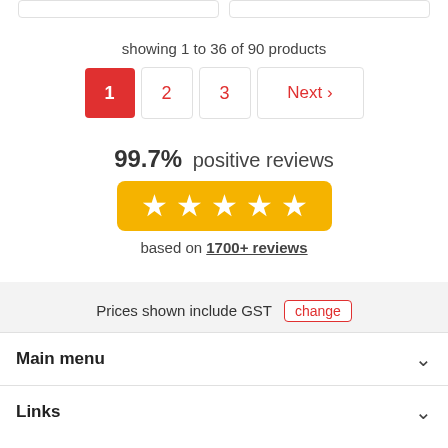showing 1 to 36 of 90 products
[Figure (other): Pagination controls showing page 1 (active, red), page 2, page 3, and Next button]
99.7% positive reviews
[Figure (other): Five yellow stars rating bar on orange/yellow background]
based on 1700+ reviews
Prices shown include GST  change
Main menu
Links